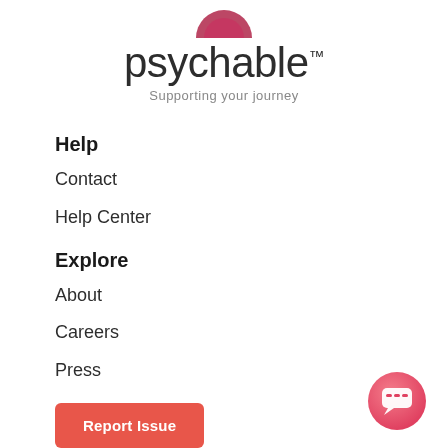[Figure (logo): Psychable logo with pink/red circular icon at top, text 'psychable' with TM mark, and tagline 'Supporting your journey']
Help
Contact
Help Center
Explore
About
Careers
Press
Report Issue
[Figure (illustration): Pink/red gradient circular chat button in bottom right corner with white speech bubble icon]